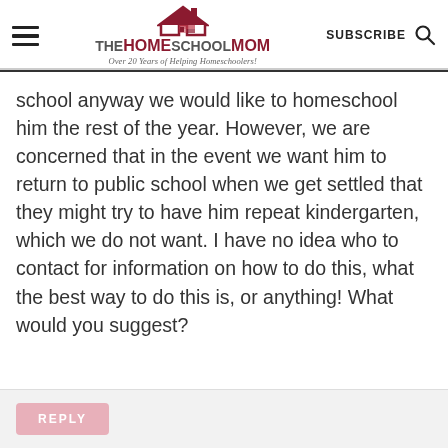THE HOMESCHOOL MOM — Over 20 Years of Helping Homeschoolers! | SUBSCRIBE
school anyway we would like to homeschool him the rest of the year. However, we are concerned that in the event we want him to return to public school when we get settled that they might try to have him repeat kindergarten, which we do not want. I have no idea who to contact for information on how to do this, what the best way to do this is, or anything! What would you suggest?
REPLY